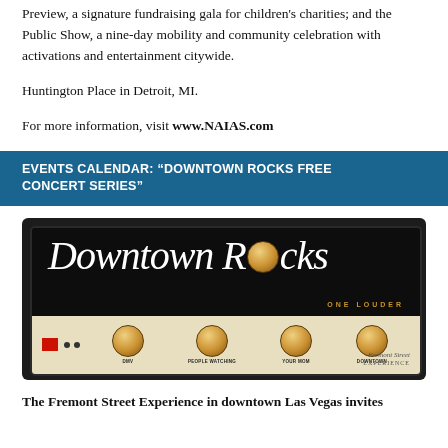Preview, a signature fundraising gala for children's charities; and the Public Show, a nine-day mobility and community celebration with activations and entertainment citywide.
Huntington Place in Detroit, MI.
For more information, visit www.NAIAS.com
EVENTS CALENDAR: “DOWNTOWN ROCKS FREE CONCERT SERIES”
[Figure (photo): Downtown Rocks guitar amplifier logo image with knobs labeled DMV, PEOPLE WATCHING, YOUR MOM, DOWNTOWN and text ONE LOUDER]
The Fremont Street Experience in downtown Las Vegas invites